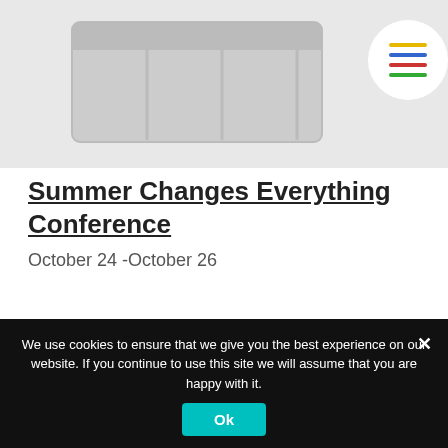[Figure (screenshot): Website screenshot showing a calendar/grid icon in a grey header area, with a circular menu button on the right showing colored horizontal lines (yellow, blue, red, green)]
Summer Changes Everything Conference
October 24 -October 26
Beyond School Hours Conference
Integrating Families into Out-of-School
We use cookies to ensure that we give you the best experience on our website. If you continue to use this site we will assume that you are happy with it.